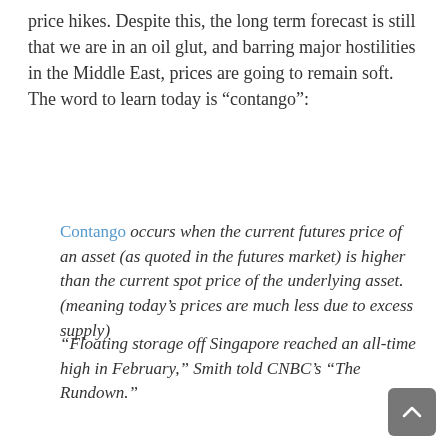price hikes. Despite this, the long term forecast is still that we are in an oil glut, and barring major hostilities in the Middle East, prices are going to remain soft. The word to learn today is “contango”:
Contango occurs when the current futures price of an asset (as quoted in the futures market) is higher than the current spot price of the underlying asset. (meaning today’s prices are much less due to excess supply)
“Floating storage off Singapore reached an all-time high in February,” Smith told CNBC’s “The Rundown.”
“We started to see Singapore floating storage dropping off last month from that record high of 60-million barrels, but we saw it rebound last week.”